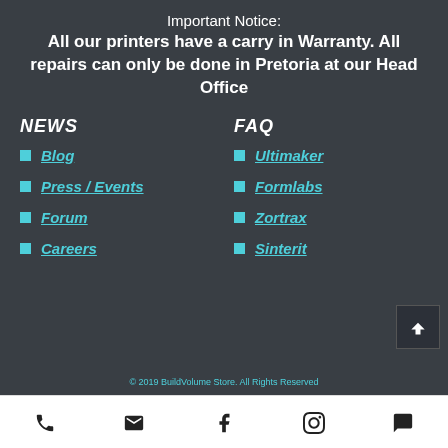Important Notice: All our printers have a carry in Warranty. All repairs can only be done in Pretoria at our Head Office
NEWS
FAQ
Blog
Press / Events
Forum
Careers
Ultimaker
Formlabs
Zortrax
Sinterit
© 2019 BuildVolume Store. All Rights Reserved